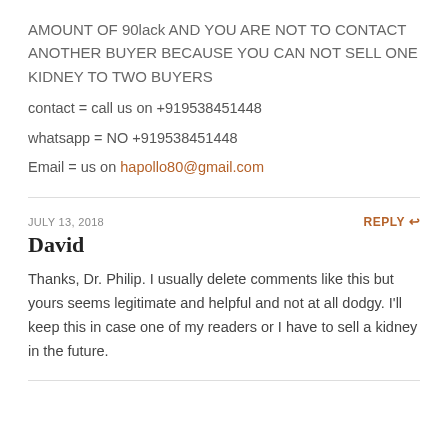AMOUNT OF 90lack AND YOU ARE NOT TO CONTACT ANOTHER BUYER BECAUSE YOU CAN NOT SELL ONE KIDNEY TO TWO BUYERS
contact = call us on +919538451448
whatsapp = NO +919538451448
Email = us on hapollo80@gmail.com
JULY 13, 2018
REPLY ↩
David
Thanks, Dr. Philip. I usually delete comments like this but yours seems legitimate and helpful and not at all dodgy. I'll keep this in case one of my readers or I have to sell a kidney in the future.